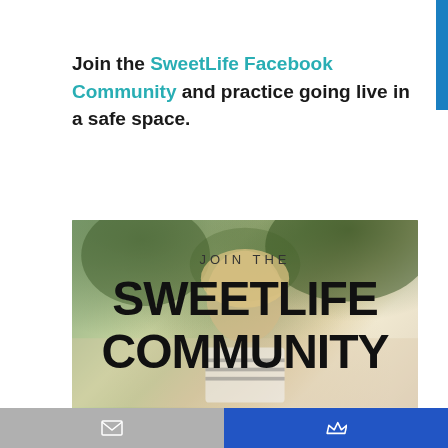Join the SweetLife Facebook Community and practice going live in a safe space.
[Figure (photo): Promotional banner image showing a woman outdoors with trees in background, overlaid with bold text reading JOIN THE SWEETLIFE COMMUNITY]